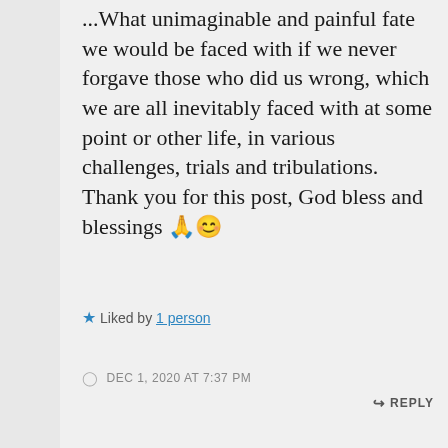...What unimaginable and painful fate we would be faced with if we never forgave those who did us wrong, which we are all inevitably faced with at some point or other life, in various challenges, trials and tribulations. Thank you for this post, God bless and blessings 🙏😊
★ Liked by 1 person
DEC 1, 2020 AT 7:37 PM
↪ REPLY